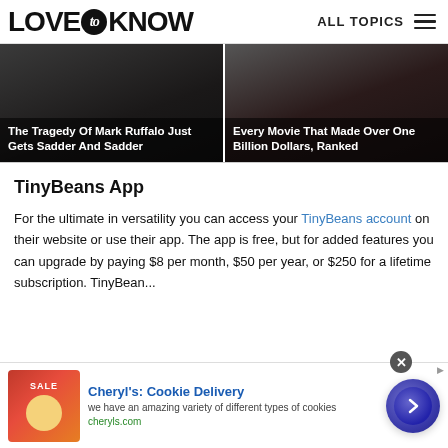LOVE to KNOW | ALL TOPICS
[Figure (photo): Two movie/celebrity image cards side by side: left card shows 'The Tragedy Of Mark Ruffalo Just Gets Sadder And Sadder', right card shows 'Every Movie That Made Over One Billion Dollars, Ranked']
TinyBeans App
For the ultimate in versatility you can access your TinyBeans account on their website or use their app. The app is free, but for added features you can upgrade by paying $8 per month, $50 per year, or $250 for a lifetime subscription. TinyBean...
[Figure (screenshot): Advertisement banner at bottom: Cheryl's Cookie Delivery ad with cookie image, text 'we have an amazing variety of different types of cookies', URL cheryls.com, and a blue circular arrow button]